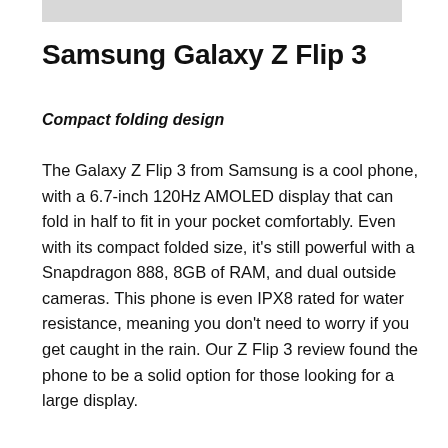[Figure (other): Gray placeholder image strip at the top of the page]
Samsung Galaxy Z Flip 3
Compact folding design
The Galaxy Z Flip 3 from Samsung is a cool phone, with a 6.7-inch 120Hz AMOLED display that can fold in half to fit in your pocket comfortably. Even with its compact folded size, it's still powerful with a Snapdragon 888, 8GB of RAM, and dual outside cameras. This phone is even IPX8 rated for water resistance, meaning you don't need to worry if you get caught in the rain. Our Z Flip 3 review found the phone to be a solid option for those looking for a large display.